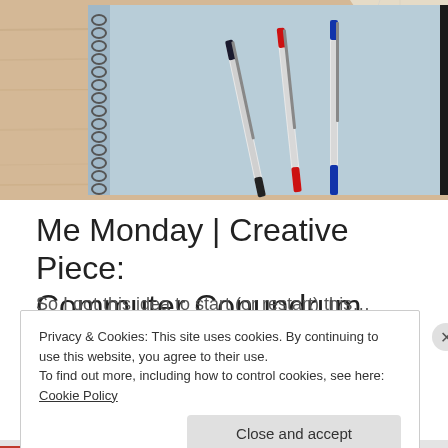[Figure (photo): Overhead photo of a spiral-bound light blue notebook with three ballpoint pens (black, red, blue) resting on it, placed on a wooden surface with a piece of fabric or paper in the upper right corner.]
Me Monday | Creative Piece: Commuter Conundrum
Privacy & Cookies: This site uses cookies. By continuing to use this website, you agree to their use.
To find out more, including how to control cookies, see here: Cookie Policy
Close and accept